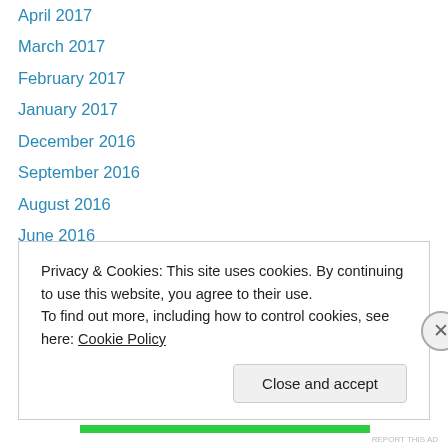April 2017
March 2017
February 2017
January 2017
December 2016
September 2016
August 2016
June 2016
April 2016
March 2016
February 2016
January 2016
December 2015
Privacy & Cookies: This site uses cookies. By continuing to use this website, you agree to their use.
To find out more, including how to control cookies, see here: Cookie Policy
Close and accept